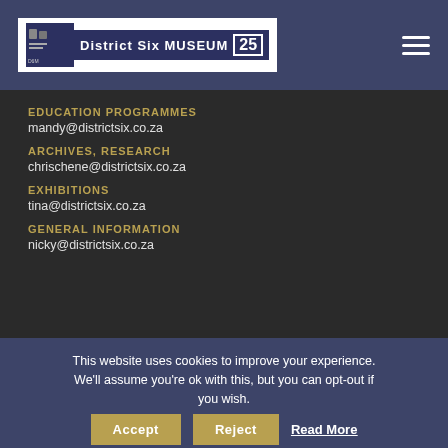District Six MUSEUM 25
EDUCATION PROGRAMMES
mandy@districtsix.co.za
ARCHIVES, RESEARCH
chrischene@districtsix.co.za
EXHIBITIONS
tina@districtsix.co.za
GENERAL INFORMATION
nicky@districtsix.co.za
This website uses cookies to improve your experience. We'll assume you're ok with this, but you can opt-out if you wish. Accept Reject Read More